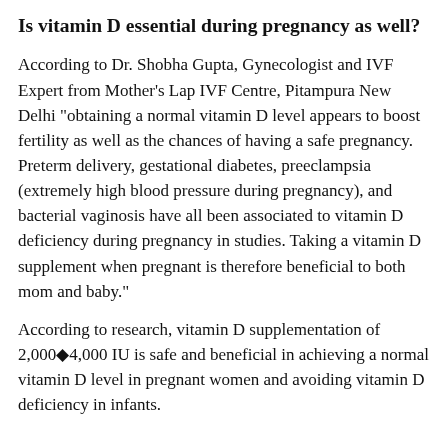Is vitamin D essential during pregnancy as well?
According to Dr. Shobha Gupta, Gynecologist and IVF Expert from Mother's Lap IVF Centre, Pitampura New Delhi "obtaining a normal vitamin D level appears to boost fertility as well as the chances of having a safe pregnancy. Preterm delivery, gestational diabetes, preeclampsia (extremely high blood pressure during pregnancy), and bacterial vaginosis have all been associated to vitamin D deficiency during pregnancy in studies. Taking a vitamin D supplement when pregnant is therefore beneficial to both mom and baby."
According to research, vitamin D supplementation of 2,000◆4,000 IU is safe and beneficial in achieving a normal vitamin D level in pregnant women and avoiding vitamin D deficiency in infants.